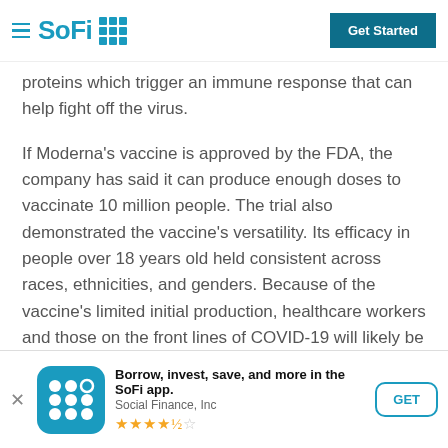SoFi — Get Started
proteins which trigger an immune response that can help fight off the virus.
If Moderna's vaccine is approved by the FDA, the company has said it can produce enough doses to vaccinate 10 million people. The trial also demonstrated the vaccine's versatility. Its efficacy in people over 18 years old held consistent across races, ethnicities, and genders. Because of the vaccine's limited initial production, healthcare workers and those on the front lines of COVID-19 will likely be the first to be vaccinated.
Partnering with Grocery Stores and Pharmacies for Vaccine Distribution
Borrow, invest, save, and more in the SoFi app. Social Finance, Inc ★★★★☆